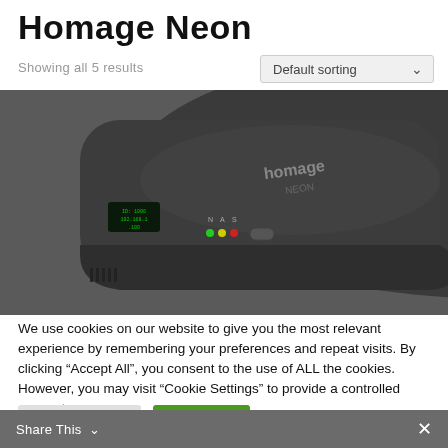Homage Neon
Showing all 5 results
Default sorting
[Figure (photo): A dark gray/charcoal Homage Neon device (router or network appliance) shown from above at an angle, featuring a small green display, status LEDs in green/yellow/red, and a button on the front face, with the Homage logo on top.]
We use cookies on our website to give you the most relevant experience by remembering your preferences and repeat visits. By clicking “Accept All”, you consent to the use of ALL the cookies. However, you may visit "Cookie Settings" to provide a controlled consent.
Cookie Settings
Accept All
Share This ⌄  ×